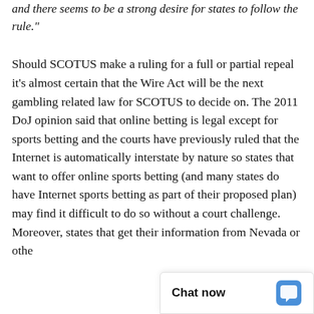and there seems to be a strong desire for states to follow the rule."
Should SCOTUS make a ruling for a full or partial repeal it's almost certain that the Wire Act will be the next gambling related law for SCOTUS to decide on. The 2011 DoJ opinion said that online betting is legal except for sports betting and the courts have previously ruled that the Internet is automatically interstate by nature so states that want to offer online sports betting (and many states do have Internet sports betting as part of their proposed plan) may find it difficult to do so without a court challenge. Moreover, states that get their information from Nevada or other...